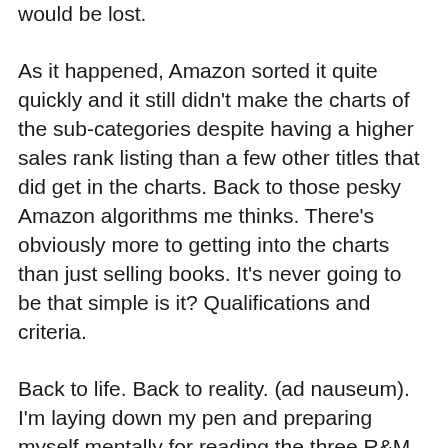would be lost.
As it happened, Amazon sorted it quite quickly and it still didn't make the charts of the sub-categories despite having a higher sales rank listing than a few other titles that did get in the charts. Back to those pesky Amazon algorithms me thinks. There's obviously more to getting into the charts than just selling books. It's never going to be that simple is it? Qualifications and criteria.
Back to life. Back to reality. (ad nauseum). I'm laying down my pen and preparing myself mentally for reading the three R&M Files in quick succession. I'm not looking forward to this for two reasons. 1) I'm afraid that all those errors readers have told me about are going to leap off the pages at me and I'll have to cringe it up because the books are still out there and there isn't a damn thing I can